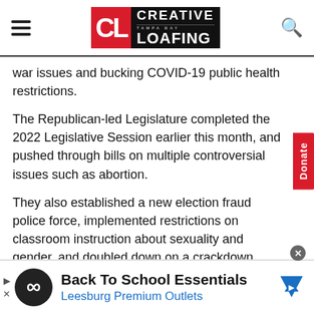Creative Loafing Tampa Bay
war issues and bucking COVID-19 public health restrictions.
The Republican-led Legislature completed the 2022 Legislative Session earlier this month, and pushed through bills on multiple controversial issues such as abortion.
They also established a new election fraud police force, implemented restrictions on classroom instruction about sexuality and gender, and doubled down on a crackdown against illegal immigration.
[Figure (other): Advertisement banner: Back To School Essentials - Leesburg Premium Outlets with infinity logo icon and navigation arrow icon]